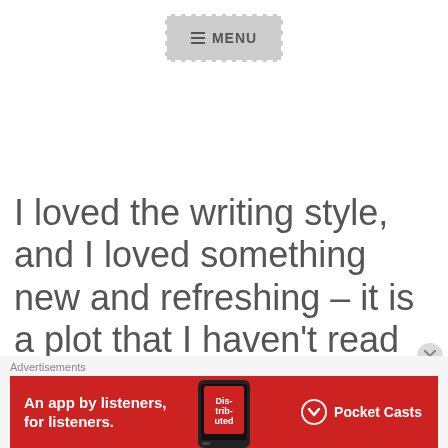[Figure (screenshot): Navigation menu button with hamburger icon and 'MENU' text, gray background with white dashed border]
I loved the writing style, and I loved something new and refreshing – it is a plot that I haven't read before, and I really enjoyed it. Sometimes when it felt
Advertisements
[Figure (screenshot): Red advertisement banner for Pocket Casts app: 'An app by listeners, for listeners.' with phone graphic and Pocket Casts logo]